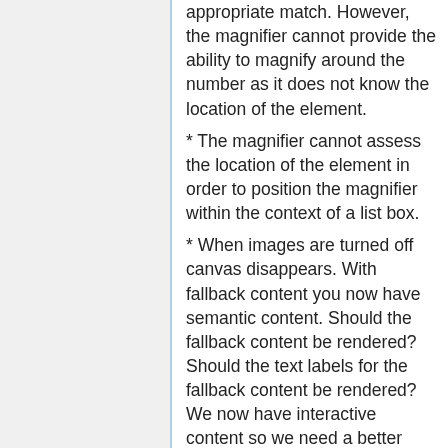appropriate match. However, the magnifier cannot provide the ability to magnify around the number as it does not know the location of the element.
* The magnifier cannot assess the location of the element in order to position the magnifier within the context of a list box.
* When images are turned off canvas disappears. With fallback content you now have semantic content. Should the fallback content be rendered? Should the text labels for the fallback content be rendered? We now have interactive content so we need a better solution.
* LucidArt created separate canvas instances to be facilitate hit testing because all the hit testing is handled